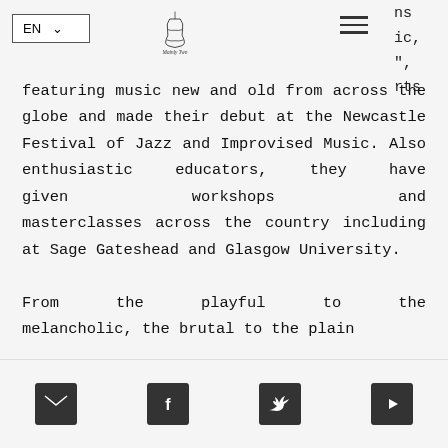EN  [language selector] [hamburger menu] [logo: Mainly Two]
featuring music new and old from across the globe and made their debut at the Newcastle Festival of Jazz and Improvised Music. Also enthusiastic educators, they have given workshops and masterclasses across the country including at Sage Gateshead and Glasgow University.

From the playful to the melancholic, the brutal to the plain
[email icon] [facebook icon] [twitter icon] [youtube icon]